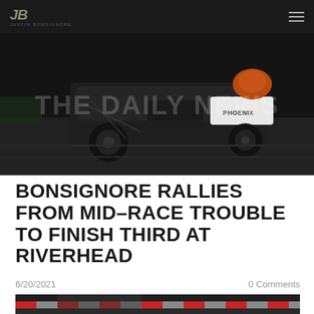JB JUSTIN BONSIGNORE
[Figure (photo): Night racing photo of a modified stock car on a dark track, with 'THE DAILY NEWS' watermark overlaid. Car is dark colored with Phoenix sponsorship visible.]
BONSIGNORE RALLIES FROM MID-RACE TROUBLE TO FINISH THIRD AT RIVERHEAD
6/20/2021
0 Comments
[Figure (photo): Bottom portion of a second racing photo showing track safety barriers and a race car partially visible.]